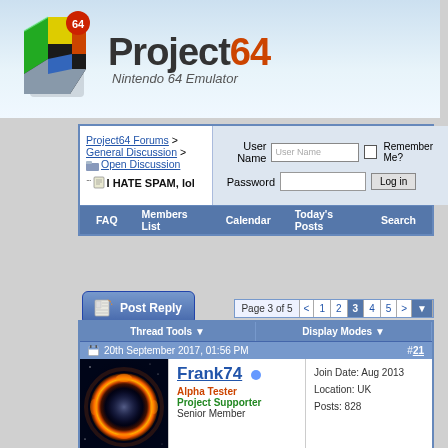[Figure (logo): Project64 Nintendo 64 Emulator logo with stylized N64 controller icon and metallic text]
Project64 Forums > General Discussion > Open Discussion
....I HATE SPAM, lol
User Name | Password | Remember Me? | Log in
FAQ   Members List   Calendar   Today's Posts   Search
Post Reply   Page 3 of 5  < 1 2 3 4 5 > ▼
Thread Tools ▼   Display Modes ▼
20th September 2017, 01:56 PM   #21
[Figure (photo): Helix Nebula photo - circular nebula with glowing orange ring against black space background]
Frank74
Alpha Tester
Project Supporter
Senior Member
Join Date: Aug 2013
Location: UK
Posts: 828